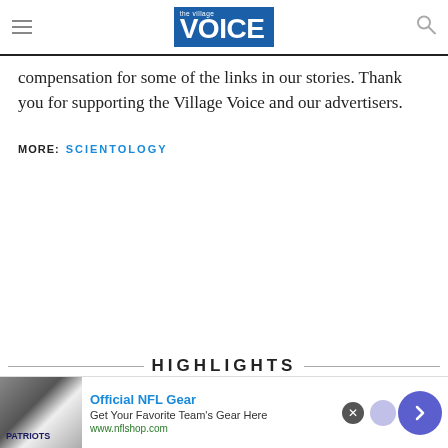The Village Voice
compensation for some of the links in our stories. Thank you for supporting the Village Voice and our advertisers.
MORE: SCIENTOLOGY
HIGHLIGHTS
[Figure (screenshot): Advertisement banner: Official NFL Gear - Get Your Favorite Team's Gear Here - www.nflshop.com]